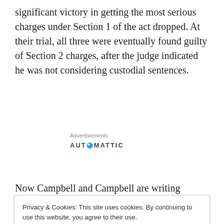significant victory in getting the most serious charges under Section 1 of the act dropped. At their trial, all three were eventually found guilty of Section 2 charges, after the judge indicated he was not considering custodial sentences.
Advertisements
AUTOMATTIC
Now Campbell and Campbell are writing together to alert readers to the latest danger posed by this most illiberal of
Privacy & Cookies: This site uses cookies. By continuing to use this website, you agree to their use.
To find out more, including how to control cookies, see here: Cookie Policy

Close and accept